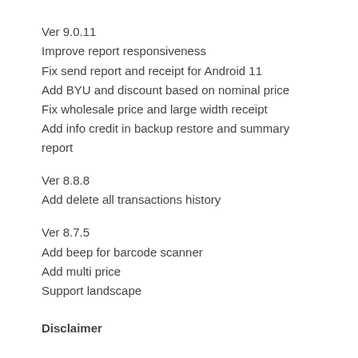Ver 9.0.11
Improve report responsiveness
Fix send report and receipt for Android 11
Add BYU and discount based on nominal price
Fix wholesale price and large width receipt
Add info credit in backup restore and summary report
Ver 8.8.8
Add delete all transactions history
Ver 8.7.5
Add beep for barcode scanner
Add multi price
Support landscape
Disclaimer